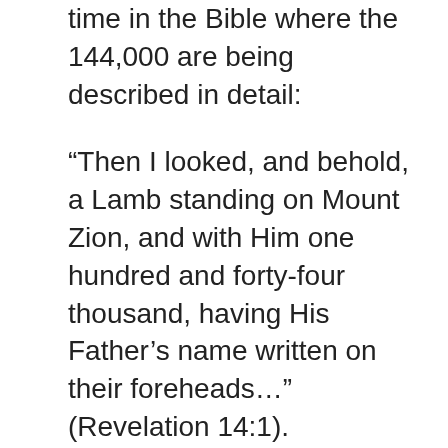time in the Bible where the 144,000 are being described in detail:
“Then I looked, and behold, a Lamb standing on Mount Zion, and with Him one hundred and forty-four thousand, having His Father’s name written on their foreheads…” (Revelation 14:1).
Now if you add up all three numbers from counting 666 by moving the “+” symbol around, it would be 72+72+18=162. What is compelling about the number 162, is, if you divide 144,000 by 162, you get 888. The name of Jesus in Greek gematria adds up to 888. The New Testament